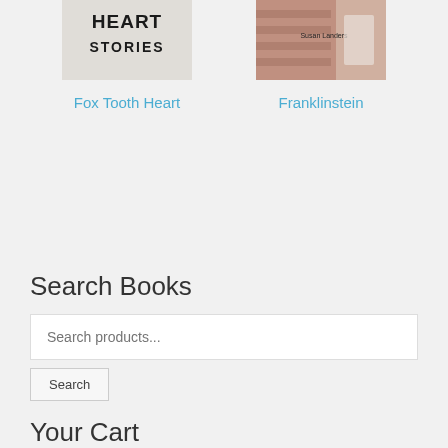[Figure (illustration): Book cover for Fox Tooth Heart - text on a grey/white background reading 'HEART STORIES' in dark block letters]
[Figure (photo): Book cover for Franklinstein - colorful urban/street art style cover with 'Susan Landers' author name visible]
Fox Tooth Heart
Franklinstein
Search Books
Search products...
Search
Your Cart